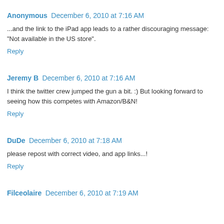Anonymous  December 6, 2010 at 7:16 AM
...and the link to the iPad app leads to a rather discouraging message: "Not available in the US store".
Reply
Jeremy B  December 6, 2010 at 7:16 AM
I think the twitter crew jumped the gun a bit. :) But looking forward to seeing how this competes with Amazon/B&N!
Reply
DuDe  December 6, 2010 at 7:18 AM
please repost with correct video, and app links...!
Reply
Filceolaire  December 6, 2010 at 7:19 AM